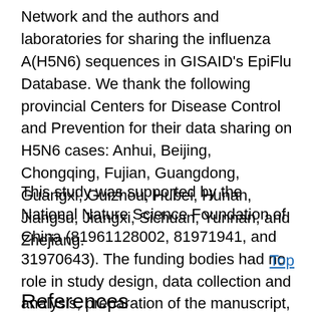Network and the authors and laboratories for sharing the influenza A(H5N6) sequences in GISAID's EpiFlu Database. We thank the following provincial Centers for Disease Control and Prevention for their data sharing on H5N6 cases: Anhui, Beijing, Chongqing, Fujian, Guangdong, Guangxi, Guizhou, Hubei, Hunan, Jiangsu, Jiangxi, Sichuan, Yunnan, and Zhejiang.
This study was supported by the National Nature Science Foundation of China (81961128002, 81971941, and 31970643). The funding bodies had no role in study design, data collection and analysis, preparation of the manuscript, or the decision to publish.
Top
References